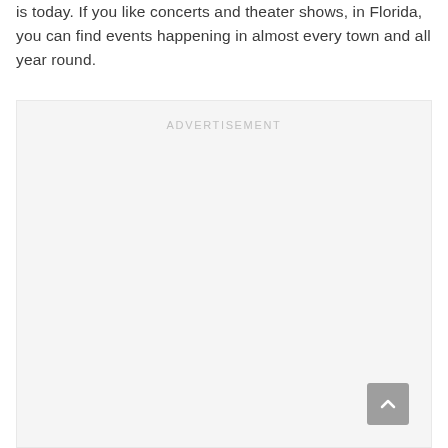is today. If you like concerts and theater shows, in Florida, you can find events happening in almost every town and all year round.
[Figure (other): Advertisement placeholder box with 'ADVERTISEMENT' label centered at top and a scroll-to-top button in the bottom right corner.]